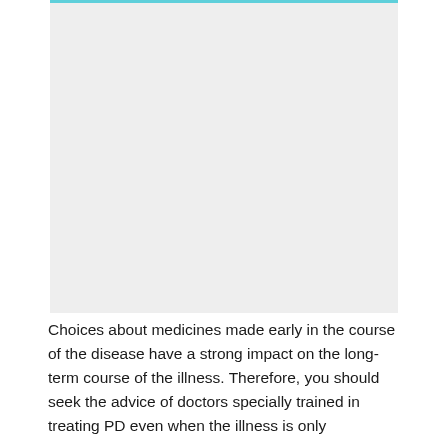[Figure (photo): Large image placeholder with light gray background and teal/cyan top border, occupying the upper portion of the page.]
Choices about medicines made early in the course of the disease have a strong impact on the long-term course of the illness. Therefore, you should seek the advice of doctors specially trained in treating PD even when the illness is only